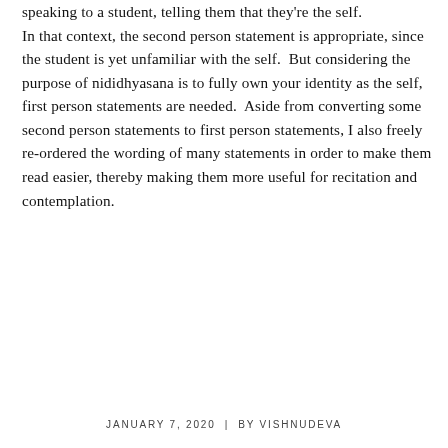speaking to a student, telling them that they're the self. In that context, the second person statement is appropriate, since the student is yet unfamiliar with the self.  But considering the purpose of nididhyasana is to fully own your identity as the self, first person statements are needed.  Aside from converting some second person statements to first person statements, I also freely re-ordered the wording of many statements in order to make them read easier, thereby making them more useful for recitation and contemplation.
JANUARY 7, 2020  |  BY VISHNUDEVA